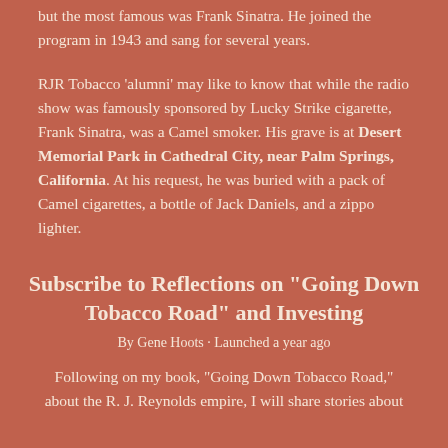but the most famous was Frank Sinatra. He joined the program in 1943 and sang for several years.
RJR Tobacco ‘alumni’ may like to know that while the radio show was famously sponsored by Lucky Strike cigarette, Frank Sinatra, was a Camel smoker. His grave is at Desert Memorial Park in Cathedral City, near Palm Springs, California. At his request, he was buried with a pack of Camel cigarettes, a bottle of Jack Daniels, and a zippo lighter.
Subscribe to Reflections on "Going Down Tobacco Road" and Investing
By Gene Hoots · Launched a year ago
Following on my book, "Going Down Tobacco Road," about the R. J. Reynolds empire, I will share stories about